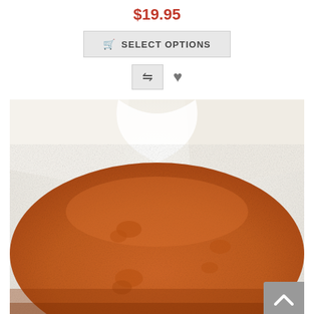$19.95
SELECT OPTIONS
[Figure (photo): Close-up photo of orange/brown powder (likely a spice or supplement) in a white bag or container, viewed from above. The powder has a mound shape with small clumps visible on the surface.]
[Figure (other): Back to top button with upward arrow chevron icon in bottom-right corner]